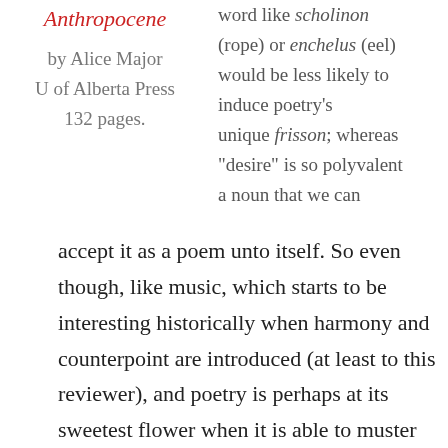Anthropocene
by Alice Major
U of Alberta Press
132 pages.
word like scholinon (rope) or enchelus (eel) would be less likely to induce poetry's unique frisson; whereas “desire” is so polyvalent a noun that we can
accept it as a poem unto itself. So even though, like music, which starts to be interesting historically when harmony and counterpoint are introduced (at least to this reviewer), and poetry is perhaps at its sweetest flower when it is able to muster all the resources of rhythm, metre, assonance, internal rhyme, and so on, even at its most minimal stage it can still move us. Pound knew this when he made a